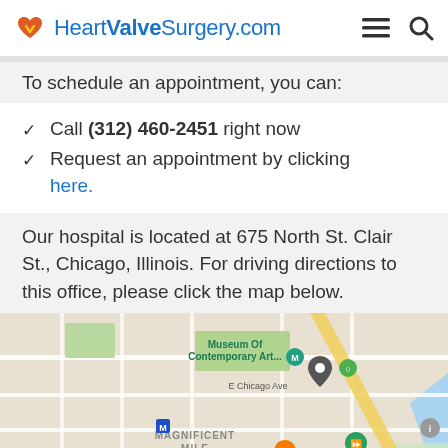HeartValveSurgery.com
To schedule an appointment, you can:
Call (312) 460-2451 right now
Request an appointment by clicking here.
Our hospital is located at 675 North St. Clair St., Chicago, Illinois. For driving directions to this office, please click the map below.
[Figure (map): Google Maps screenshot showing the area around 675 North St. Clair St., Chicago, Illinois. Visible landmarks include Museum of Contemporary Art, Northwestern Pritzker School of Law, Ohio Street Beach, Navy Pier, Magnificent Mile, Streeterville, and River North neighborhoods.]